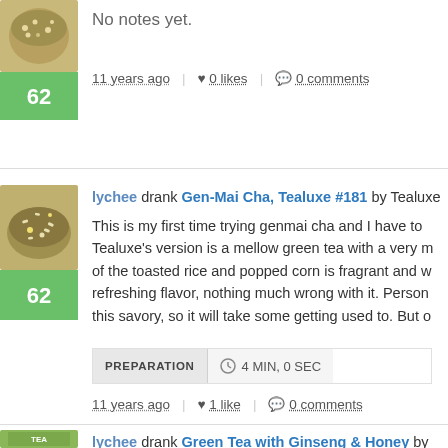[Figure (photo): Tea product image with green score badge showing 62]
No notes yet.
11 years ago | ♥ 0 likes | 0 comments
[Figure (photo): Gen-Mai Cha tea product image with green score badge showing 62]
lychee drank Gen-Mai Cha, Tealuxe #181 by Tealuxe
This is my first time trying genmai cha and I have to... Tealuxe's version is a mellow green tea with a very m... of the toasted rice and popped corn is fragrant and w... refreshing flavor, nothing much wrong with it. Person... this savory, so it will take some getting used to. But o...
PREPARATION | ⏱ 4 MIN, 0 SEC
11 years ago | ♥ 1 like | 0 comments
[Figure (photo): Green Tea with Ginseng & Honey product image]
lychee drank Green Tea with Ginseng & Honey by Arizon...